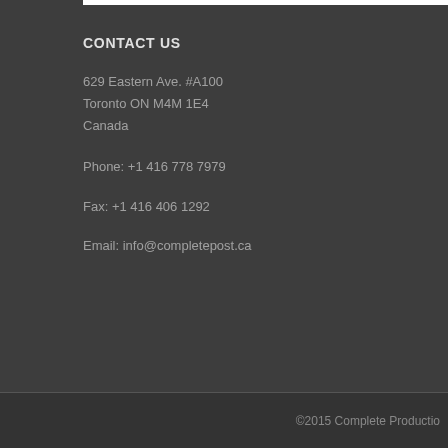CONTACT US
629 Eastern Ave. #A100
Toronto ON M4M 1E4
Canada
Phone: +1 416 778 7979
Fax: +1 416 406 1292
Email: info@completepost.ca
©2015 Complete Productio